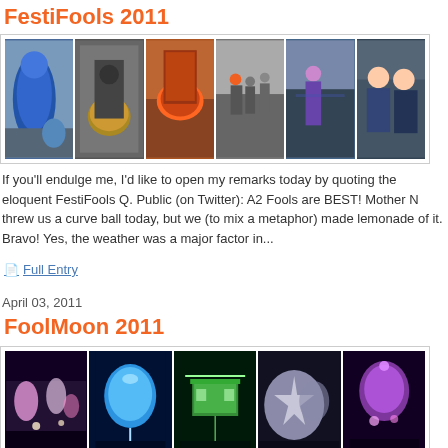FestiFools 2011
[Figure (photo): Strip of 6 event photos from FestiFools 2011 showing parade participants, costumes, drums, and street scenes]
If you'll endulge me, I'd like to open my remarks today by quoting the eloquent FestiFools Q. Public (on Twitter): A2 Fools are BEST! Mother N threw us a curve ball today, but we (to mix a metaphor) made lemonade of it. Bravo! Yes, the weather was a major factor in...
Full Entry
April 03, 2011
FoolMoon 2011
[Figure (photo): Strip of 5 night event photos from FoolMoon 2011 showing illuminated lanterns, light installations, and performers]